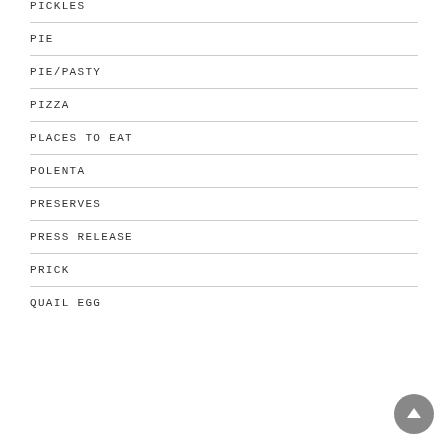PICKLES
PIE
PIE/PASTY
PIZZA
PLACES TO EAT
POLENTA
PRESERVES
PRESS RELEASE
PRICK
QUAIL EGG